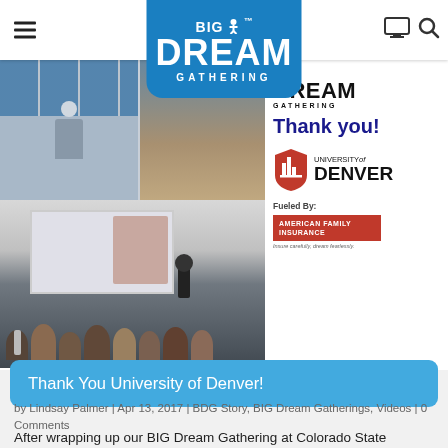BIG DREAM GATHERING
[Figure (photo): Navigation header with hamburger menu, Big Dream Gathering logo in blue, monitor icon and search icon]
[Figure (photo): Collage of event photos: presenter with attendees on top left, landscape photo on top right, audience watching a presentation on bottom left]
[Figure (photo): Right side panel with Big Dream Gathering small logo, Thank you text in dark blue, University of Denver logo with red shield, Fueled By American Family Insurance logo]
Thank You University of Denver!
by Lindsay Palmer | Apr 13, 2017 | BDG Story, BIG Dream Gatherings, Videos | 0 Comments
After wrapping up our BIG Dream Gathering at Colorado State University, the dream team packed up and headed to Denver for a second BIG Dream Gathering. This was the